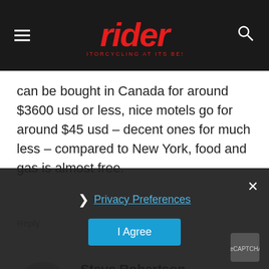rider — MOTORCYCLING AT ITS BEST
can be bought in Canada for around $3600 usd or less, nice motels go for around $45 usd – decent ones for much less – compared to New York, food and gas is almost free.
Reply
Steve Robertson
July 1, 2017 At 3:47 pm
What a great idea! I rode my Goldwing to Alaska and back in 2010, spending a lot of time in Canada of course, and loved it. Your idea is intriguing! So, are you suggesting that an American could fly into a western Canad city, purchase a le it to Alaska the it back to the states with no hassles? Would th
Privacy Preferences
I Agree